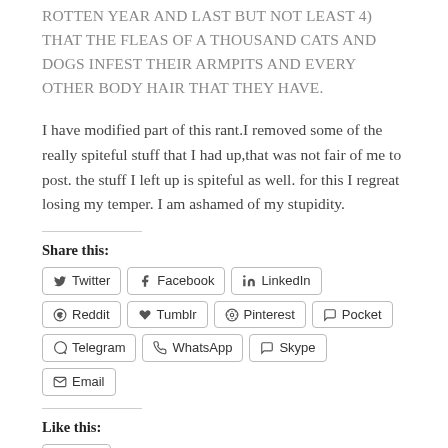ROTTEN YEAR AND LAST BUT NOT LEAST 4) THAT THE FLEAS OF A THOUSAND CATS AND DOGS INFEST THEIR ARMPITS AND EVERY OTHER BODY HAIR THAT THEY HAVE.
I have modified part of this rant.I removed some of the really spiteful stuff that I had up,that was not fair of me to post. the stuff I left up is spiteful as well. for this I regreat losing my temper. I am ashamed of my stupidity.
Share this:
Twitter
Facebook
LinkedIn
Reddit
Tumblr
Pinterest
Pocket
Telegram
WhatsApp
Skype
Email
Like this:
Like